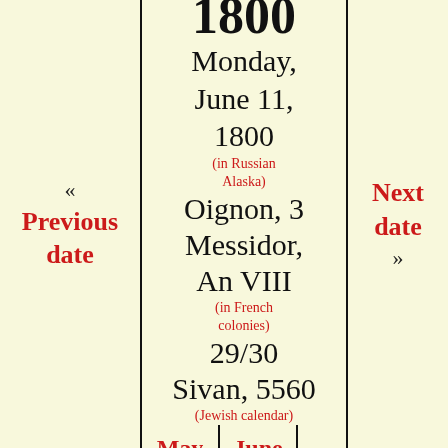1800
« Previous date
Monday, June 11, 1800 (in Russian Alaska) Oignon, 3 Messidor, An VIII (in French colonies) 29/30 Sivan, 5560 (Jewish calendar)
Next date »
May 1800 | June 1800 | July 1800